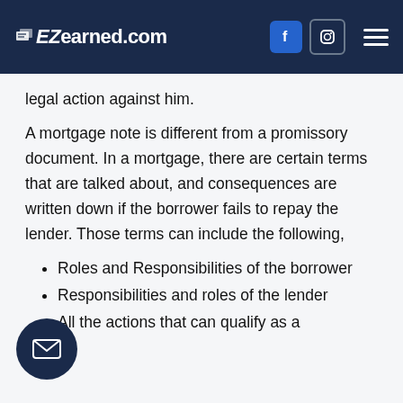EZearned.com
legal action against him.
A mortgage note is different from a promissory document. In a mortgage, there are certain terms that are talked about, and consequences are written down if the borrower fails to repay the lender. Those terms can include the following,
Roles and Responsibilities of the borrower
Responsibilities and roles of the lender
All the actions that can qualify as a